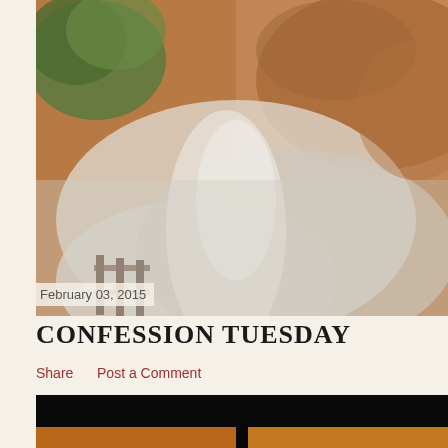[Figure (photo): Blurry outdoor photo showing foggy/smoky scene with trees on the left, wooden fence or railing at bottom left, and brownish-orange rock or wall in background. Misty white haze fills the center and lower portion.]
February 03, 2015
CONFESSION TUESDAY
Share   Post a Comment
[Figure (photo): Bottom partial image showing a dark/black upper portion and an orange/amber lower strip, appearing to be another blog post thumbnail.]